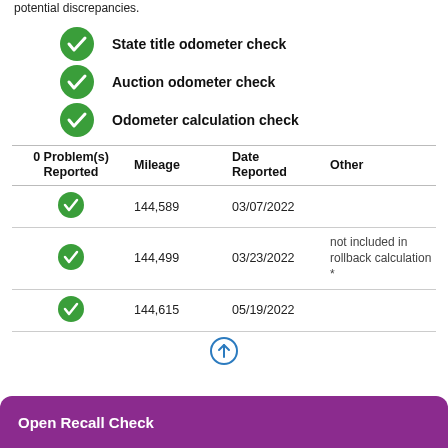potential discrepancies.
State title odometer check
Auction odometer check
Odometer calculation check
| 0 Problem(s) Reported | Mileage | Date Reported | Other |
| --- | --- | --- | --- |
| ✓ | 144,589 | 03/07/2022 |  |
| ✓ | 144,499 | 03/23/2022 | not included in rollback calculation * |
| ✓ | 144,615 | 05/19/2022 |  |
Open Recall Check